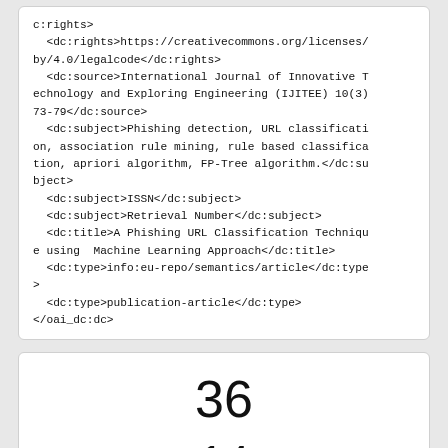c:rights>
  <dc:rights>https://creativecommons.org/licenses/by/4.0/legalcode</dc:rights>
  <dc:source>International Journal of Innovative Technology and Exploring Engineering (IJITEE) 10(3) 73-79</dc:source>
  <dc:subject>Phishing detection, URL classification, association rule mining, rule based classification, apriori algorithm, FP-Tree algorithm.</dc:subject>
  <dc:subject>ISSN</dc:subject>
  <dc:subject>Retrieval Number</dc:subject>
  <dc:title>A Phishing URL Classification Technique using  Machine Learning Approach</dc:title>
  <dc:type>info:eu-repo/semantics/article</dc:type>
  <dc:type>publication-article</dc:type>
</oai_dc:dc>
36
14